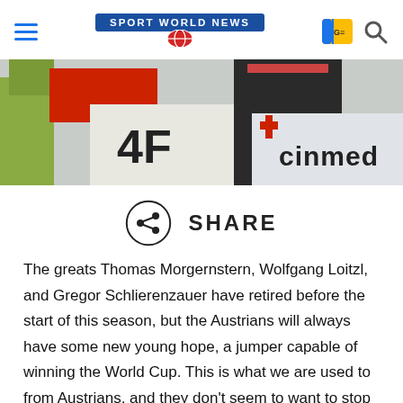SPORT WORLD NEWS
[Figure (photo): Ski jumping athlete standing at competition venue with 4F and Cinmed sponsor banners in the background]
SHARE
The greats Thomas Morgernstern, Wolfgang Loitzl, and Gregor Schlierenzauer have retired before the start of this season, but the Austrians will always have some new young hope, a jumper capable of winning the World Cup. This is what we are used to from Austrians, and they don't seem to want to stop the tradition. An inexhaustible source